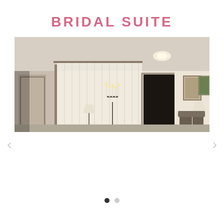BRIDAL SUITE
[Figure (photo): Interior photo of a bridal suite room showing white sheer curtains, candelabras with candles, a dark doorway in the center, framed paintings on the walls, a floor lamp, and chairs. The room has cream/beige walls with recessed lighting in the ceiling.]
‹
›